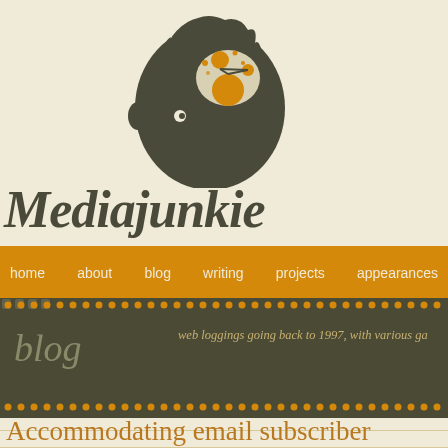[Figure (logo): Mediajunkie logo: dark silhouette of a human head profile with orange molecule/network graphic inside the brain area, on a cream background]
Mediajunkie
home  about  blog  writing  projects  appearances
blog
web loggings going back to 1997, with various ga
Accommodating email subscriber